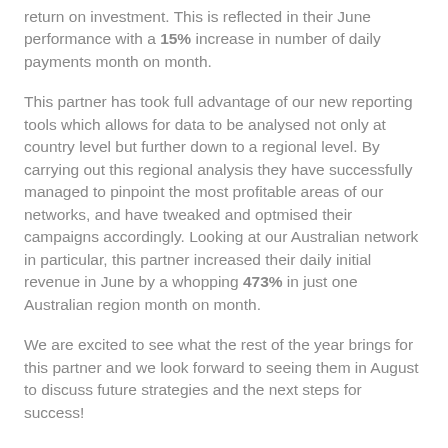return on investment. This is reflected in their June performance with a 15% increase in number of daily payments month on month.
This partner has took full advantage of our new reporting tools which allows for data to be analysed not only at country level but further down to a regional level. By carrying out this regional analysis they have successfully managed to pinpoint the most profitable areas of our networks, and have tweaked and optmised their campaigns accordingly. Looking at our Australian network in particular, this partner increased their daily initial revenue in June by a whopping 473% in just one Australian region month on month.
We are excited to see what the rest of the year brings for this partner and we look forward to seeing them in August to discuss future strategies and the next steps for success!